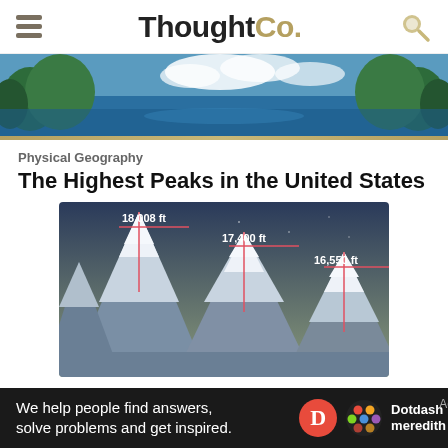ThoughtCo.
[Figure (photo): Scenic photo of a mountain lake with blue water, green trees and sky with clouds]
Physical Geography
The Highest Peaks in the United States
[Figure (illustration): Illustration of three mountain peaks with height markers: 18,008 ft, 17,400 ft, and 16,550 ft shown with red vertical lines]
We help people find answers, solve problems and get inspired.